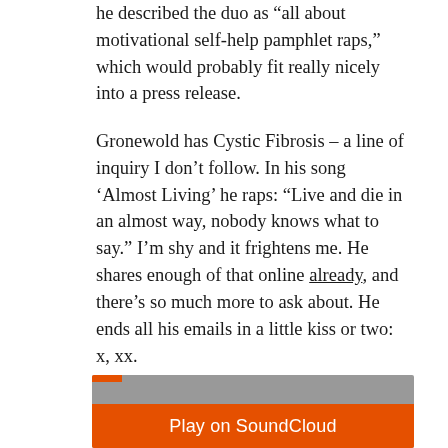he described the duo as “all about motivational self-help pamphlet raps,” which would probably fit really nicely into a press release.
Gronewold has Cystic Fibrosis – a line of inquiry I don’t follow. In his song ‘Almost Living’ he raps: “Live and die in an almost way, nobody knows what to say.” I’m shy and it frightens me. He shares enough of that online already, and there’s so much more to ask about. He ends all his emails in a little kiss or two: x, xx.
[Figure (other): SoundCloud embedded player widget with orange play button and gray background]